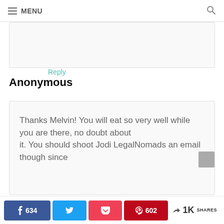≡ MENU 🔍
Reply
Anonymous
Thanks Melvin! You will eat so very well while you are there, no doubt about it. You should shoot Jodi LegalNomads an email though since
634 [Facebook] [Twitter] [Pocket] 602 [Pinterest] < 1K SHARES